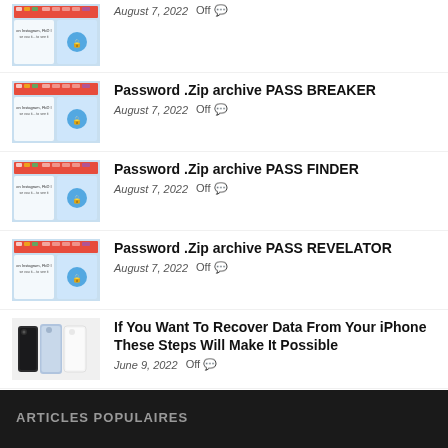August 7, 2022  Off
Password .Zip archive PASS BREAKER
August 7, 2022  Off
Password .Zip archive PASS FINDER
August 7, 2022  Off
Password .Zip archive PASS REVELATOR
August 7, 2022  Off
If You Want To Recover Data From Your iPhone These Steps Will Make It Possible
June 9, 2022  Off
A Useful Guide – What Are Ransomware Attacks and How To Prevent Them?
June 6, 2022  Off
ARTICLES POPULAIRES